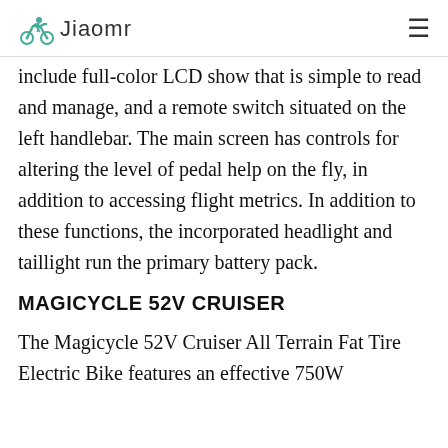Jiaomr
include full-color LCD show that is simple to read and manage, and a remote switch situated on the left handlebar. The main screen has controls for altering the level of pedal help on the fly, in addition to accessing flight metrics. In addition to these functions, the incorporated headlight and taillight run the primary battery pack.
MAGICYCLE 52V CRUISER
The Magicycle 52V Cruiser All Terrain Fat Tire Electric Bike features an effective 750W